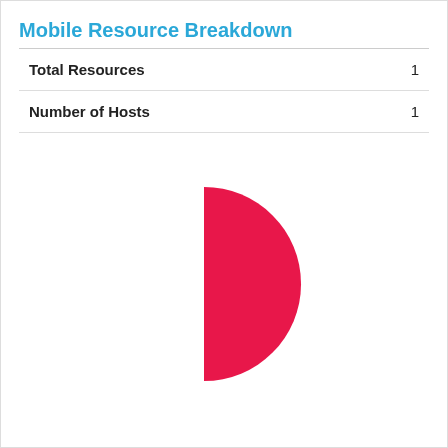Mobile Resource Breakdown
| Total Resources | 1 |
| Number of Hosts | 1 |
[Figure (pie-chart): ]